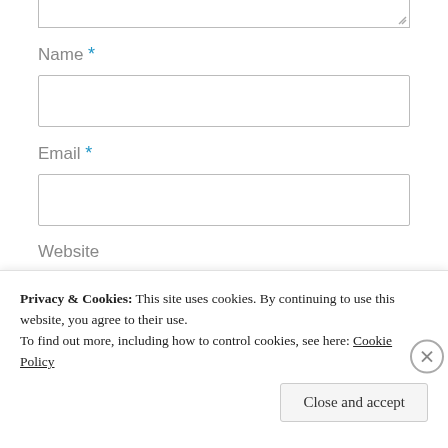[textarea top stub]
Name *
[Name input field]
Email *
[Email input field]
Website
[Website input field]
[Submit button]
Privacy & Cookies: This site uses cookies. By continuing to use this website, you agree to their use.
To find out more, including how to control cookies, see here: Cookie Policy
Close and accept